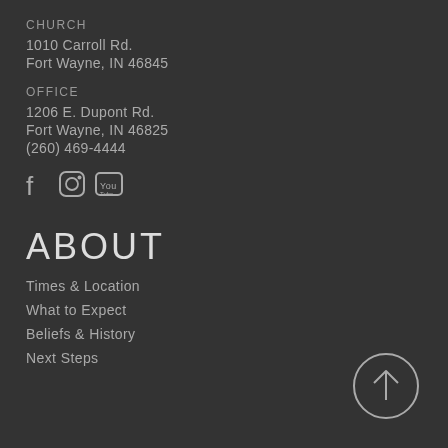CHURCH
1010 Carroll Rd.
Fort Wayne, IN 46845
OFFICE
1206 E. Dupont Rd.
Fort Wayne, IN 46825
(260) 469-4444
[Figure (infographic): Social media icons: Facebook, Instagram, YouTube]
ABOUT
Times & Location
What to Expect
Beliefs & History
Next Steps
[Figure (infographic): Back to top circular arrow button]